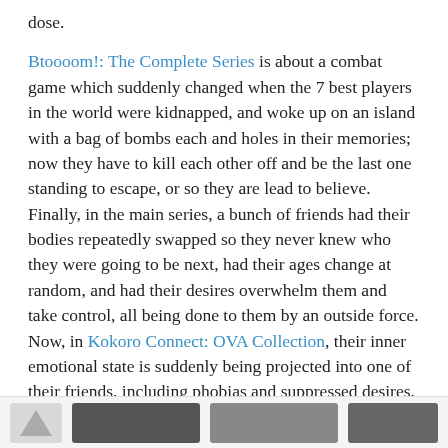dose.

Btoooom!: The Complete Series is about a combat game which suddenly changed when the 7 best players in the world were kidnapped, and woke up on an island with a bag of bombs each and holes in their memories; now they have to kill each other off and be the last one standing to escape, or so they are lead to believe. Finally, in the main series, a bunch of friends had their bodies repeatedly swapped so they never knew who they were going to be next, had their ages change at random, and had their desires overwhelm them and take control, all being done to them by an outside force. Now, in Kokoro Connect: OVA Collection, their inner emotional state is suddenly being projected into one of their friends, including phobias and suppressed desires, sometimes with near lethal results.
[Figure (other): Bottom navigation bar with thumbnail and buttons]